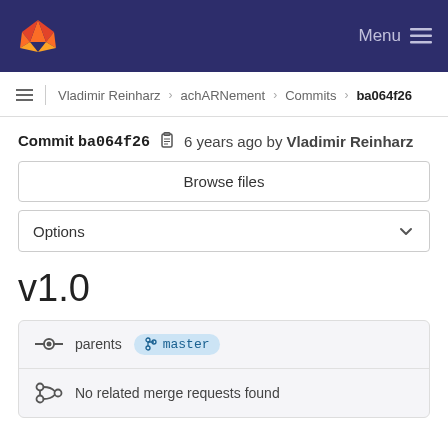GitLab navigation bar with logo and Menu button
Vladimir Reinharz > achARNement > Commits > ba064f26
Commit ba064f26  6 years ago by Vladimir Reinharz
Browse files
Options
v1.0
parents master
No related merge requests found